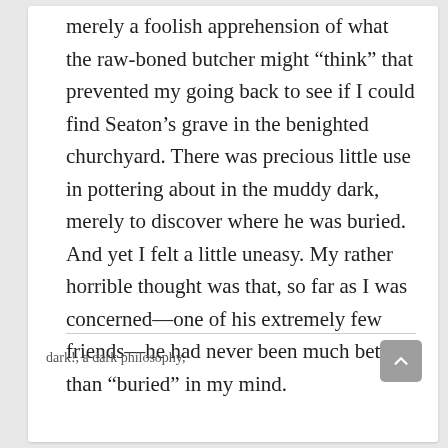merely a foolish apprehension of what the raw-boned butcher might “think” that prevented my going back to see if I could find Seaton’s grave in the benighted churchyard. There was precious little use in pottering about in the muddy dark, merely to discover where he was buried. And yet I felt a little uneasy. My rather horrible thought was that, so far as I was concerned—one of his extremely few friends—he had never been much better than “buried” in my mind.
dark!, a dark philosophy,